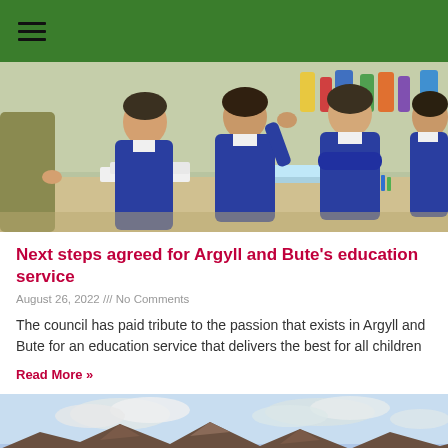≡ (hamburger menu)
[Figure (photo): Children in school uniforms (dark blue jumpers) sitting at desks in a classroom, reading or studying, with a teacher partially visible on the left.]
Next steps agreed for Argyll and Bute's education service
August 26, 2022 /// No Comments
The council has paid tribute to the passion that exists in Argyll and Bute for an education service that delivers the best for all children
Read More »
[Figure (photo): A mountain landscape scene with clouds and sky, partially visible at the bottom of the page.]